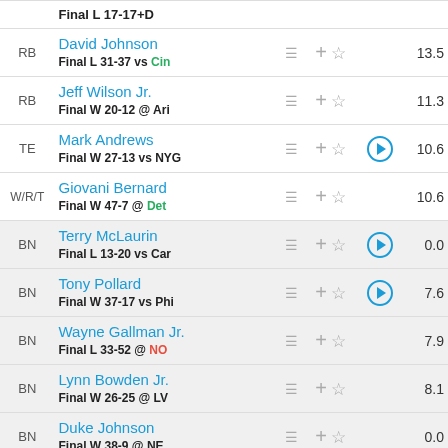| POS | Player | Notes | Actions | Play | Score |
| --- | --- | --- | --- | --- | --- |
| RB | David Johnson / Final L 31-37 vs Cin |  | + ☆ |  | 13.5 |
| RB | Jeff Wilson Jr. / Final W 20-12 @ Ari |  | + ☆ |  | 11.3 |
| TE | Mark Andrews / Final W 27-13 vs NYG |  | + ☆ | ▶ | 10.6 |
| W/R/T | Giovani Bernard / Final W 47-7 @ Det |  | + ☆ |  | 10.6 |
| BN | Terry McLaurin / Final L 13-20 vs Car |  | + ☆ | ▶ | 0.0 |
| BN | Tony Pollard / Final W 37-17 vs Phi |  | + ☆ | ▶ | 7.6 |
| BN | Wayne Gallman Jr. / Final L 33-52 @ NO |  | + ☆ |  | 7.9 |
| BN | Lynn Bowden Jr. / Final W 26-25 @ LV |  | + ☆ |  | 8.1 |
| BN | Duke Johnson / Final W 38-9 @ NE |  | + ☆ |  | 0.0 |
| BN | Carlos Hyde / Final L 17-41 vs Chi |  | + ☆ |  | 4.6 |